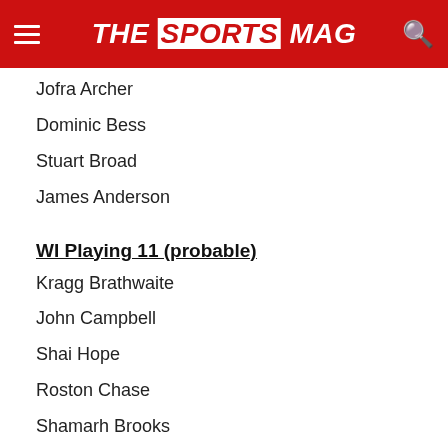THE SPORTS MAG
Jofra Archer
Dominic Bess
Stuart Broad
James Anderson
WI Playing 11 (probable)
Kragg Brathwaite
John Campbell
Shai Hope
Roston Chase
Shamarh Brooks
Jason Holder
Shane Dowrich
Rahkeem Cornwall
Alzarri Joseph
Shanon Gabriel
Kemar Roach